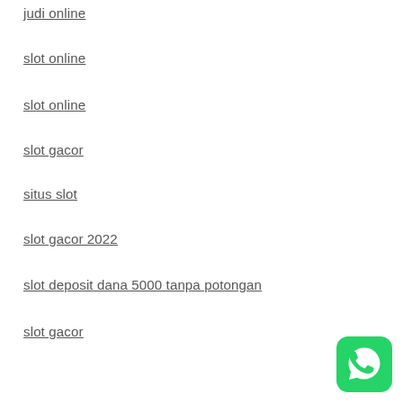judi online
slot online
slot online
slot gacor
situs slot
slot gacor 2022
slot deposit dana 5000 tanpa potongan
slot gacor
[Figure (logo): WhatsApp green icon button in bottom right corner]